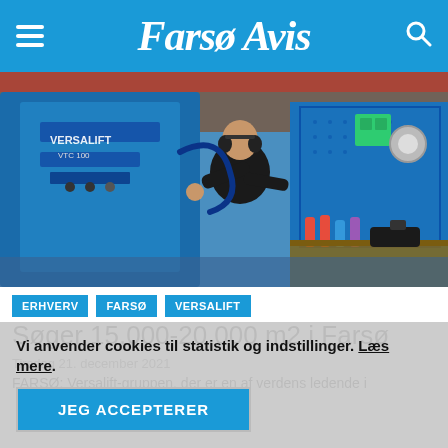Farsø Avis
[Figure (photo): A worker in a black shirt working on a large blue Versalift industrial lift/boom truck in a workshop setting. Tool pegboard visible in background.]
ERHVERV
FARSØ
VERSALIFT
Søger 15.000-20.000 m2 i Farsø
Tirsdag 21. december 2021
FARSØ: Versalift-gruppen, der er en af verdens ledende i...
Vi anvender cookies til statistik og indstillinger. Læs mere.
JEG ACCEPTERER